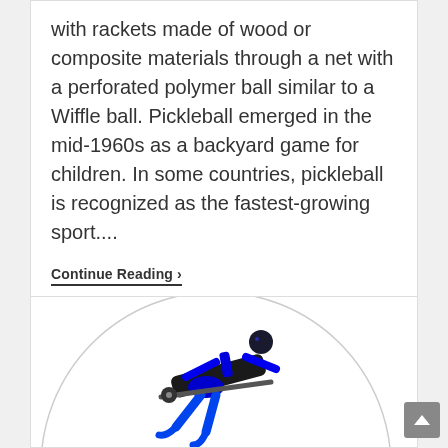table tennis. Two or four players play with rackets made of wood or composite materials through a net with a perforated polymer ball similar to a Wiffle ball. Pickleball emerged in the mid-1960s as a backyard game for children. In some countries, pickleball is recognized as the fastest-growing sport....
Continue Reading ›
[Figure (photo): Blue and black figurine/toy of a person exercising on what appears to be a rowing or exercise machine, shown inside a circular frame/logo on a white card]